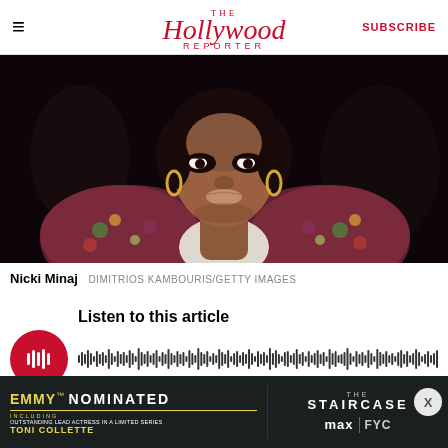The Hollywood Reporter | SUBSCRIBE
[Figure (photo): Nicki Minaj wearing a floral dress with large puffed sleeves and a white collar, dramatic eye makeup, gold hoop earrings, dark background]
Nicki Minaj DIMITRIOS KAMBOURIS/GETTY IMAGES
[Figure (other): Audio player with red circular play button with soundwave icon, text 'Listen to this article', and a waveform visualization]
[Figure (other): Advertisement banner: EMMY NOMINATED including Outstanding Lead Actress in a Limited Series TONI COLLETTE | THE STAIRCASE max FYC]